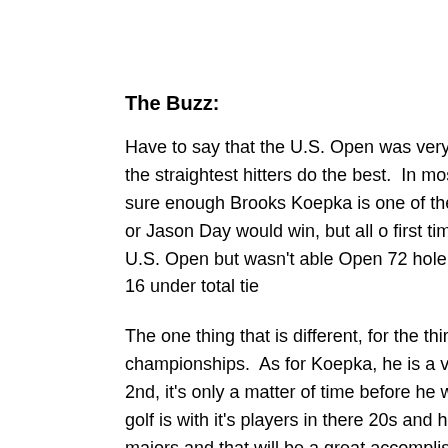The Buzz:
Have to say that the U.S. Open was very succesful.  Erin Hills is in which the straightest hitters do the best.  In most Opens, fairw bomber would win, sure enough Brooks Koepka is one of the lon Dustin Johnson, Rory Mcllroy or Jason Day would win, but all o first time a bomber was favored in the U.S. Open but wasn't able Open 72 hole record with his 272 total and his 16 under total tie
The one thing that is different, for the third straight year someone championships.  As for Koepka, he is a very good example of the finish T-2nd, it's only a matter of time before he wins a major ch  So the future of golf is with it's players in there 20s and hit it a l winning more than five majors and that will be a great accomplis but now there is probably over 50 players in golf that could win a interesting since more players can win.
Tournament information:
This is the 66th annual Travelers Championship.  The tourname